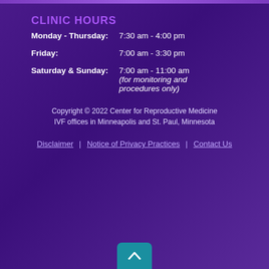CLINIC HOURS
Monday - Thursday: 7:30 am - 4:00 pm
Friday: 7:00 am - 3:30 pm
Saturday & Sunday: 7:00 am - 11:00 am (for monitoring and procedures only)
Copyright © 2022 Center for Reproductive Medicine
IVF offices in Minneapolis and St. Paul, Minnesota
Disclaimer | Notice of Privacy Practices | Contact Us